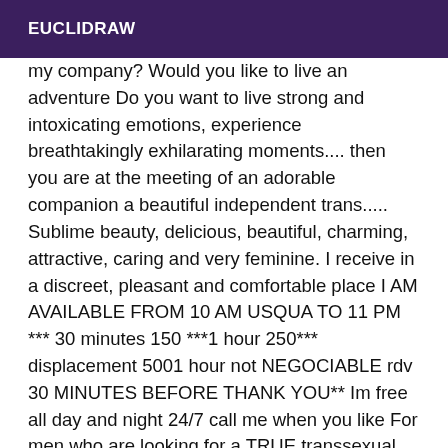EUCLIDRAW
my company? Would you like to live an adventure Do you want to live strong and intoxicating emotions, experience breathtakingly exhilarating moments.... then you are at the meeting of an adorable companion a beautiful independent trans..... Sublime beauty, delicious, beautiful, charming, attractive, caring and very feminine. I receive in a discreet, pleasant and comfortable place I AM AVAILABLE FROM 10 AM USQUA TO 11 PM *** 30 minutes 150 ***1 hour 250*** displacement 5001 hour not NEGOCIABLE rdv 30 MINUTES BEFORE THANK YOU** Im free all day and night 24/7 call me when you like For men who are looking for a TRUE transsexual dominatrix. **Dominatrix Dominatrix Trans Trainer to progress Submitted to my goodwill ** always well dressed with domination suits and high heels. Always well made up with manicure and pedicure. I offer a complete domination service from soft to extreme. I practice all types of fetishes and role-